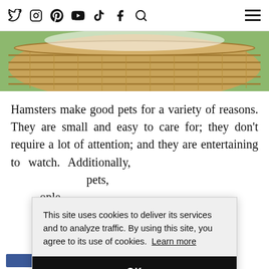Social media icons: Twitter, Instagram, Pinterest, YouTube, TikTok, Facebook, Search, Hamburger menu
[Figure (photo): Close-up photo of a wicker basket with green background]
Hamsters make good pets for a variety of reasons. They are small and easy to care for; they don't require a lot of attention; and they are entertaining to watch. Additionally, [text obscured by cookie banner] pets, [text obscured] ople [text obscured] pet [text obscured] g a [text obscured] sons [text obscured]
This site uses cookies to deliver its services and to analyze traffic. By using this site, you agree to its use of cookies. Learn more
OK
Share buttons row